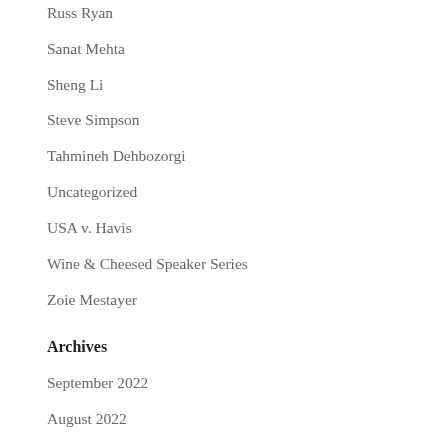Russ Ryan
Sanat Mehta
Sheng Li
Steve Simpson
Tahmineh Dehbozorgi
Uncategorized
USA v. Havis
Wine & Cheesed Speaker Series
Zoie Mestayer
Archives
September 2022
August 2022
July 2022